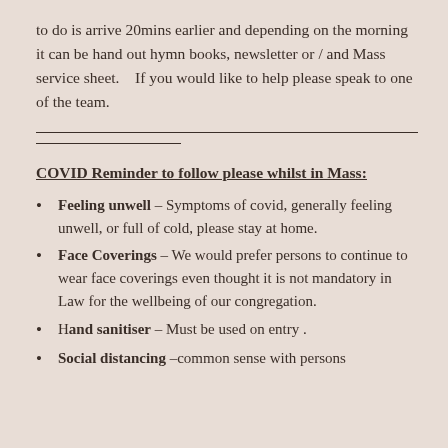to do is arrive 20mins earlier and depending on the morning it can be hand out hymn books, newsletter or / and Mass service sheet.    If you would like to help please speak to one of the team.
COVID Reminder to follow please whilst in Mass:
Feeling unwell – Symptoms of covid, generally feeling unwell, or full of cold, please stay at home.
Face Coverings – We would prefer persons to continue to wear face coverings even thought it is not mandatory in Law for the wellbeing of our congregation.
Hand sanitiser – Must be used on entry .
Social distancing –common sense with persons